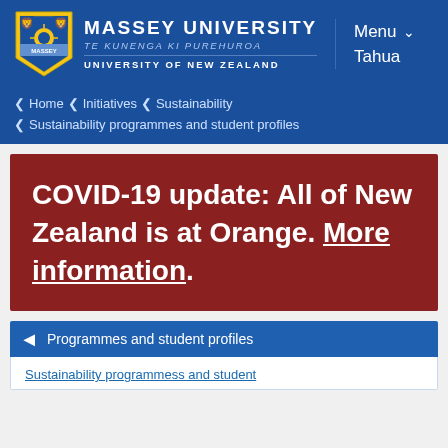MASSEY UNIVERSITY TE KUNENGA KI PUREHUROA UNIVERSITY OF NEW ZEALAND | Menu Tahua
Home < Initiatives < Sustainability < Sustainability programmes and student profiles
COVID-19 update: All of New Zealand is at Orange. More information.
Programmes and student profiles
Sustainability programmess and student